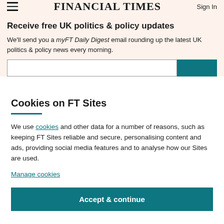FINANCIAL TIMES
Receive free UK politics & policy updates
We'll send you a myFT Daily Digest email rounding up the latest UK politics & policy news every morning.
Cookies on FT Sites
We use cookies and other data for a number of reasons, such as keeping FT Sites reliable and secure, personalising content and ads, providing social media features and to analyse how our Sites are used.
Manage cookies
Accept & continue